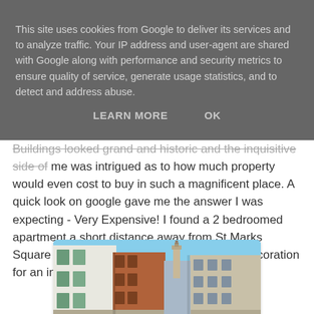This site uses cookies from Google to deliver its services and to analyze traffic. Your IP address and user-agent are shared with Google along with performance and security metrics to ensure quality of service, generate usage statistics, and to detect and address abuse.
LEARN MORE   OK
Buildings looked grand and historic and the inquisitive side of me was intrigued as to how much property would even cost to buy in such a magnificent place. A quick look on google gave me the answer I was expecting - Very Expensive! I found a 2 bedroomed apartment a short distance away from St Marks Square that was really small and in need of decoration for an incredible 1.3 million euros!
[Figure (photo): Street scene in Venice showing narrow street with historic buildings on both sides, a white building on the left, red/orange brick building in the center, beige building on the right, a bell tower visible in the background, blue sky above.]